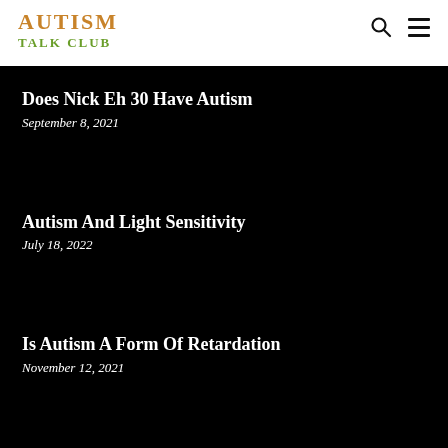AUTISM TALK CLUB
Does Nick Eh 30 Have Autism
September 8, 2021
Autism And Light Sensitivity
July 18, 2022
Is Autism A Form Of Retardation
November 12, 2021